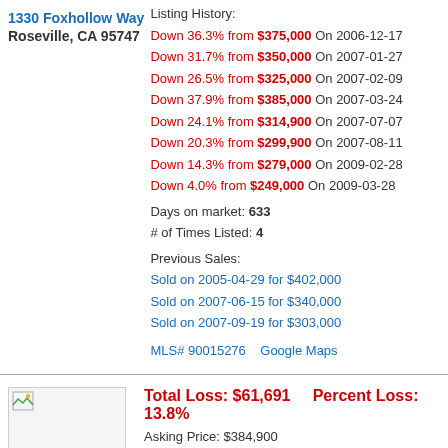Listing History:
Down 36.3% from $375,000 On 2006-12-17
Down 31.7% from $350,000 On 2007-01-27
Down 26.5% from $325,000 On 2007-02-09
Down 37.9% from $385,000 On 2007-03-24
Down 24.1% from $314,900 On 2007-07-07
Down 20.3% from $299,900 On 2007-08-11
Down 14.3% from $279,000 On 2009-02-28
Down 4.0% from $249,000 On 2009-03-28
Days on market: 633
# of Times Listed: 4
Previous Sales:
Sold on 2005-04-29 for $402,000
Sold on 2007-06-15 for $340,000
Sold on 2007-09-19 for $303,000
MLS# 90015276    Google Maps
1330 Foxhollow Way
Roseville, CA 95747
Total Loss: $61,691    Percent Loss: 13.8%
Asking Price: $384,900
Bedrooms:2   Baths: 2   Sq. feet:1795
Days on market: 127
# of Times Listed: 2
Previous Sales:
Sold on 2005-11-10 for $436,000
Sold on 2009-02-06 for $446,591
Likely REO
216 Timberland Ln
Lincoln, CA 95648